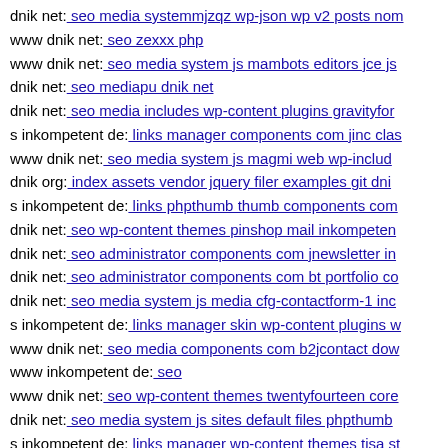dnik net: seo media systemmjzqz wp-json wp v2 posts no…
www dnik net: seo zexxx php
www dnik net: seo media system js mambots editors jce js…
dnik net: seo mediapu dnik net
dnik net: seo media includes wp-content plugins gravityfo…
s inkompetent de: links manager components com jinc clas…
www dnik net: seo media system js magmi web wp-includ…
dnik org: index assets vendor jquery filer examples git dni…
s inkompetent de: links phpthumb thumb components com…
dnik net: seo wp-content themes pinshop mail inkompeten…
dnik net: seo administrator components com jnewsletter in…
dnik net: seo administrator components com bt portfolio co…
dnik net: seo media system js media cfg-contactform-1 inc…
s inkompetent de: links manager skin wp-content plugins w…
www dnik net: seo media components com b2jcontact dow…
www inkompetent de: seo
www dnik net: seo wp-content themes twentyfourteen core…
dnik net: seo media system js sites default files phpthumb…
s inkompetent de: links manager wp-content themes tisa st…
dnik net: seo wp-content themes canvas classes dnik net